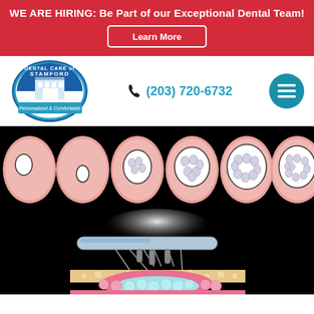WE ARE HIRING: Be Part of our Exceptional Dental Team!
Learn More
[Figure (logo): Dental Care of Stamford circular logo with building illustration and text 'Personalized & Comfortable']
(203) 720-6732
[Figure (illustration): Medical/dental diagram showing a series of cell/follicle cross-sections at top progressing from small to large internal structures, and below a laser treatment device emitting beams onto layered skin tissue with pink and teal cellular layers]